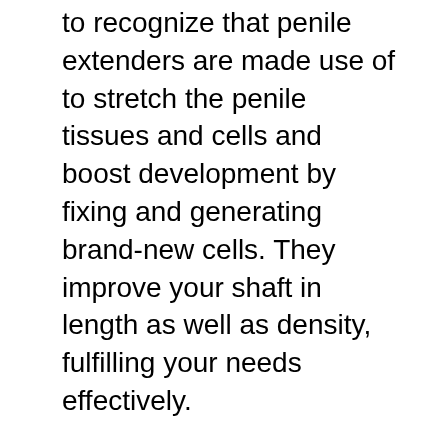to recognize that penile extenders are made use of to stretch the penile tissues and cells and boost development by fixing and generating brand-new cells. They improve your shaft in length as well as density, fulfilling your needs effectively.
An excellent choice to penis pumps are all-natural herbal pills called nitric oxide tablets. These tablets are shown to kick back the muscles in the body so your penis will not be unable to put up. It will help enhance blood flow in the penile chambers and advertise an erection whenever you need one.
The important point your doctor will certainly need to do is analyze your medical problem and also determine if penis pumps are right